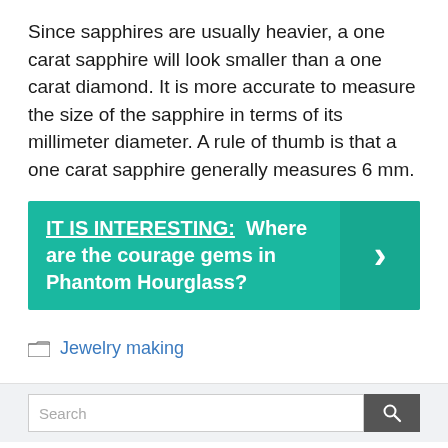Since sapphires are usually heavier, a one carat sapphire will look smaller than a one carat diamond. It is more accurate to measure the size of the sapphire in terms of its millimeter diameter. A rule of thumb is that a one carat sapphire generally measures 6 mm.
IT IS INTERESTING: Where are the courage gems in Phantom Hourglass?
Jewelry making